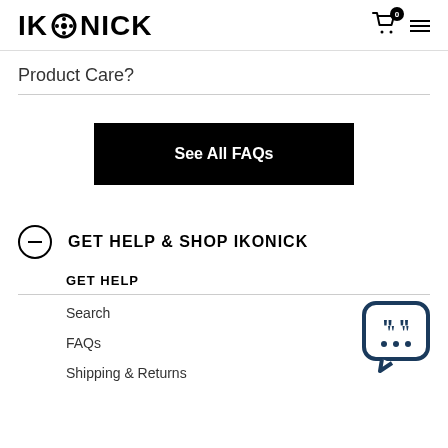IKONICK
Product Care?
See All FAQs
GET HELP & SHOP IKONICK
GET HELP
Search
FAQs
Shipping & Returns